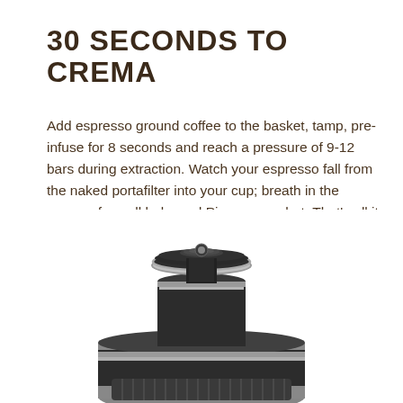30 SECONDS TO CREMA
Add espresso ground coffee to the basket, tamp, pre-infuse for 8 seconds and reach a pressure of 9-12 bars during extraction. Watch your espresso fall from the naked portafilter into your cup; breath in the aroma of a well balanced Picopresso shot. That's all it takes to reach perfection.
[Figure (photo): Close-up photo of a dark metal espresso portafilter and tamper from below, showing the basket and tamp mechanism on a white background.]